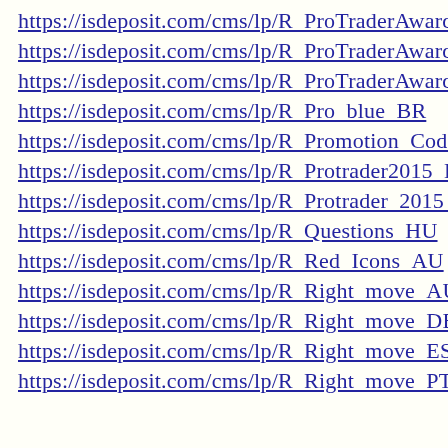https://isdeposit.com/cms/lp/R_ProTraderAward_AR
https://isdeposit.com/cms/lp/R_ProTraderAward_AR/
https://isdeposit.com/cms/lp/R_ProTraderAward_IT
https://isdeposit.com/cms/lp/R_Pro_blue_BR
https://isdeposit.com/cms/lp/R_Promotion_Code_IT
https://isdeposit.com/cms/lp/R_Protrader2015_ES
https://isdeposit.com/cms/lp/R_Protrader_2015_ES
https://isdeposit.com/cms/lp/R_Questions_HU
https://isdeposit.com/cms/lp/R_Red_Icons_AU
https://isdeposit.com/cms/lp/R_Right_move_AU
https://isdeposit.com/cms/lp/R_Right_move_DE
https://isdeposit.com/cms/lp/R_Right_move_ES
https://isdeposit.com/cms/lp/R_Right_move_PT